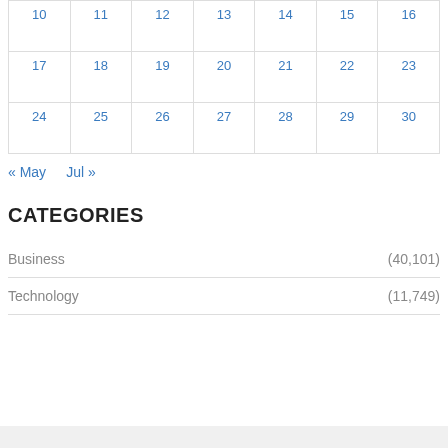|  |  |  |  |  |  |  |
| --- | --- | --- | --- | --- | --- | --- |
| 10 | 11 | 12 | 13 | 14 | 15 | 16 |
| 17 | 18 | 19 | 20 | 21 | 22 | 23 |
| 24 | 25 | 26 | 27 | 28 | 29 | 30 |
« May   Jul »
CATEGORIES
Business (40,101)
Technology (11,749)